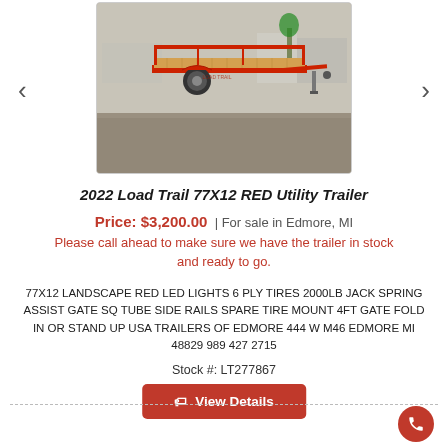[Figure (photo): Red utility trailer (2022 Load Trail 77X12) parked on gravel lot, showing wooden deck floor, red steel frame, and ramp gate]
2022 Load Trail 77X12 RED Utility Trailer
Price: $3,200.00 | For sale in Edmore, MI
Please call ahead to make sure we have the trailer in stock and ready to go.
77X12 LANDSCAPE RED LED LIGHTS 6 PLY TIRES 2000LB JACK SPRING ASSIST GATE SQ TUBE SIDE RAILS SPARE TIRE MOUNT 4FT GATE FOLD IN OR STAND UP USA TRAILERS OF EDMORE 444 W M46 EDMORE MI 48829 989 427 2715
Stock #: LT277867